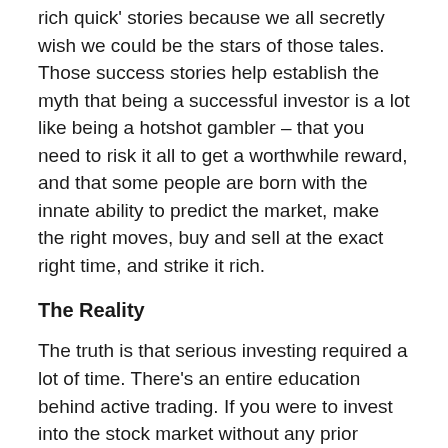rich quick' stories because we all secretly wish we could be the stars of those tales. Those success stories help establish the myth that being a successful investor is a lot like being a hotshot gambler – that you need to risk it all to get a worthwhile reward, and that some people are born with the innate ability to predict the market, make the right moves, buy and sell at the exact right time, and strike it rich.
The Reality
The truth is that serious investing required a lot of time. There's an entire education behind active trading. If you were to invest into the stock market without any prior research, you might as well be playing the lottery. Educating yourself about the stock market is no simple task and it requires ongoing research. It's not only about understanding the way economies and global market places work – it's also about staying up to date on what's happening in our world. Environment, technology, politics and culture all have the ability to influence economic